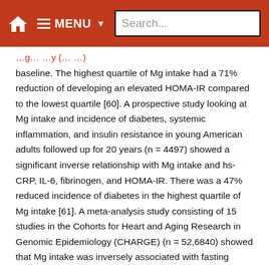MENU Search...
baseline. The highest quartile of Mg intake had a 71% reduction of developing an elevated HOMA-IR compared to the lowest quartile [60]. A prospective study looking at Mg intake and incidence of diabetes, systemic inflammation, and insulin resistance in young American adults followed up for 20 years (n = 4497) showed a significant inverse relationship with Mg intake and hs-CRP, IL-6, fibrinogen, and HOMA-IR. There was a 47% reduced incidence of diabetes in the highest quartile of Mg intake [61]. A meta-analysis study consisting of 15 studies in the Cohorts for Heart and Aging Research in Genomic Epidemiology (CHARGE) (n = 52,6840) showed that Mg intake was inversely associated with fasting glucose and insulin (p < 0.0001) [62]. A recent meta-analysis of double-blind randomized controlled trials supplementing Mg (12 in diabetics and 6 in those with high risk of diabetes) showed